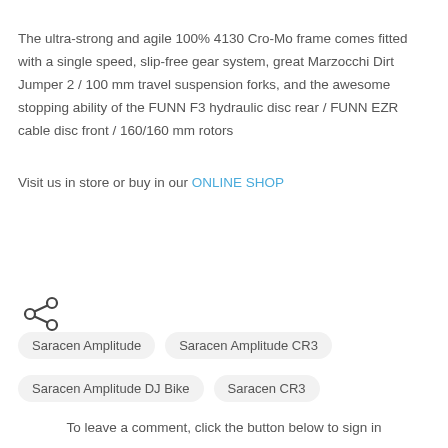The ultra-strong and agile 100% 4130 Cro-Mo frame comes fitted with a single speed, slip-free gear system, great Marzocchi Dirt Jumper 2 / 100 mm travel suspension forks, and the awesome stopping ability of the FUNN F3 hydraulic disc rear / FUNN EZR cable disc front / 160/160 mm rotors
Visit us in store or buy in our ONLINE SHOP
[Figure (other): Share icon (three connected dots)]
Saracen Amplitude
Saracen Amplitude CR3
Saracen Amplitude DJ Bike
Saracen CR3
To leave a comment, click the button below to sign in